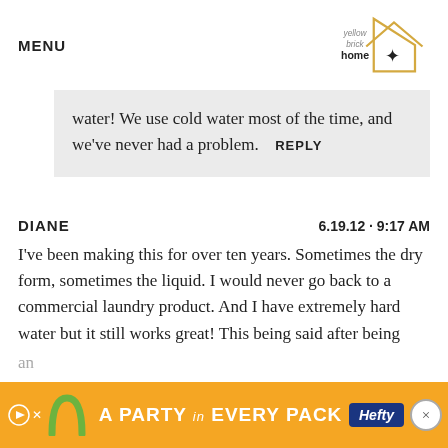MENU | yellow brick home
water! We use cold water most of the time, and we've never had a problem. REPLY
DIANE   6.19.12 · 9:17 AM
I've been making this for over ten years. Sometimes the dry form, sometimes the liquid. I would never go back to a commercial laundry product. And I have extremely hard water but it still works great! This being said after being an kid t
[Figure (infographic): Advertisement banner: orange background, 'A PARTY in EVERY PACK' text in white bold, Hefty logo in blue]